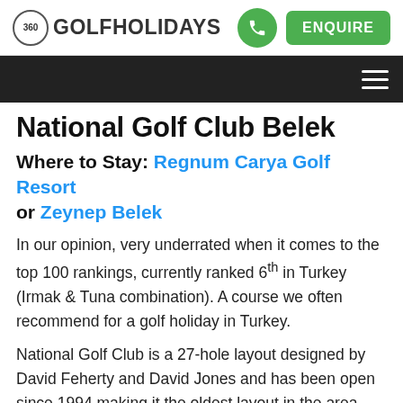360 GOLF HOLIDAYS — ENQUIRE
National Golf Club Belek
Where to Stay: Regnum Carya Golf Resort or Zeynep Belek
In our opinion, very underrated when it comes to the top 100 rankings, currently ranked 6th in Turkey (Irmak & Tuna combination). A course we often recommend for a golf holiday in Turkey.
National Golf Club is a 27-hole layout designed by David Feherty and David Jones and has been open since 1994 making it the oldest layout in the area. The...